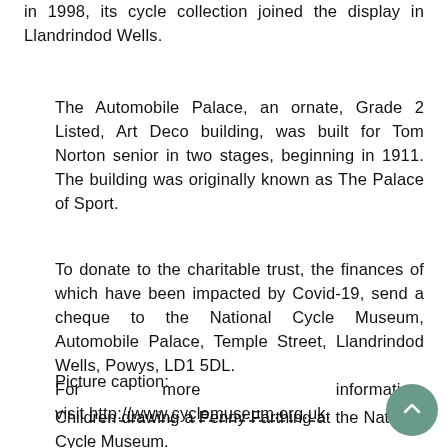in 1998, its cycle collection joined the display in Llandrindod Wells.
The Automobile Palace, an ornate, Grade 2 Listed, Art Deco building, was built for Tom Norton senior in two stages, beginning in 1911. The building was originally known as The Palace of Sport.
To donate to the charitable trust, the finances of which have been impacted by Covid-19, send a cheque to the National Cycle Museum, Automobile Palace, Temple Street, Llandrindod Wells, Powys, LD1 5DL. For more information, visit http://www.cyclemuseum.org.uk.
Picture caption:
Children drawing a Penny Farthing at the National Cycle Museum.